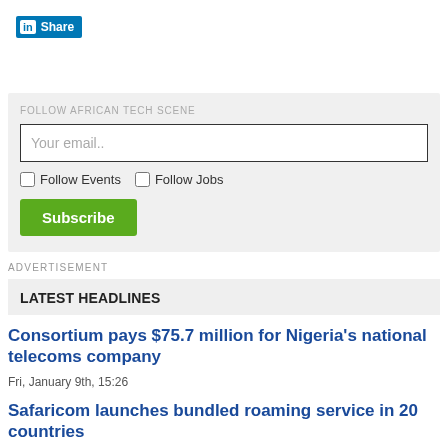[Figure (logo): LinkedIn Share button with blue background and white 'in' logo icon]
FOLLOW AFRICAN TECH SCENE
Your email..
Follow Events  Follow Jobs
Subscribe
ADVERTISEMENT
LATEST HEADLINES
Consortium pays $75.7 million for Nigeria's national telecoms company
Fri, January 9th, 15:26
Safaricom launches bundled roaming service in 20 countries